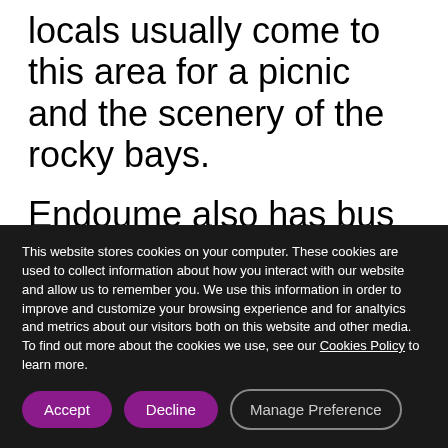locals usually come to this area for a picnic and the scenery of the rocky bays.
Endoume also has bus stops, restaurants, a grocery store, shops, and a park. On top of that, this area has many options for housing, from modern apartments to vintage houses.
This website stores cookies on your computer. These cookies are used to collect information about how you interact with our website and allow us to remember you. We use this information in order to improve and customize your browsing experience and for analtyics and metrics about our visitors both on this website and other media. To find out more about the cookies we use, see our Cookies Policy to learn more.